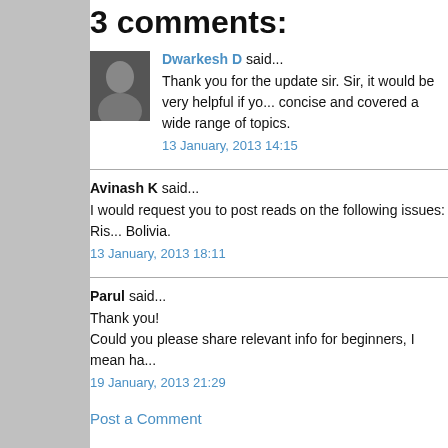3 comments:
Dwarkesh D said...
Thank you for the update sir. Sir, it would be very helpful if you concise and covered a wide range of topics.
13 January, 2013 14:15
Avinash K said...
I would request you to post reads on the following issues: Ris... Bolivia.
13 January, 2013 18:11
Parul said...
Thank you!
Could you please share relevant info for beginners, I mean ha...
19 January, 2013 21:29
Post a Comment
Newer Post
Subscribe to: Post Comments (Atom)